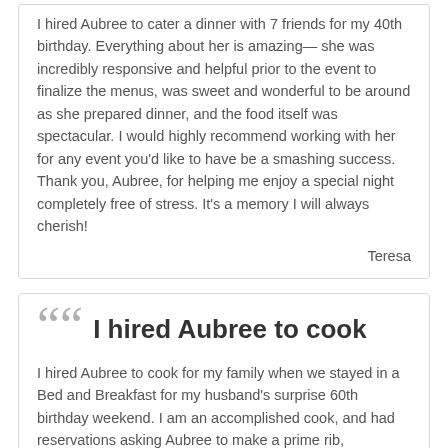I hired Aubree to cater a dinner with 7 friends for my 40th birthday. Everything about her is amazing— she was incredibly responsive and helpful prior to the event to finalize the menus, was sweet and wonderful to be around as she prepared dinner, and the food itself was spectacular. I would highly recommend working with her for any event you'd like to have be a smashing success. Thank you, Aubree, for helping me enjoy a special night completely free of stress. It's a memory I will always cherish!
Teresa
I hired Aubree to cook
I hired Aubree to cook for my family when we stayed in a Bed and Breakfast for my husband's surprise 60th birthday weekend. I am an accomplished cook, and had reservations asking Aubree to make a prime rib, something that I cook every Christmas and my family loves. But she pulled it off and far exceeded my expectations. I even asked her to come into the dining room to tell her how amazing the dinner was, and